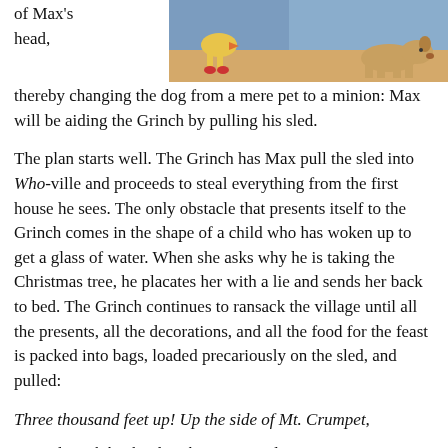of Max's head,
[Figure (illustration): Animated illustration showing cartoon characters (likely the Grinch and Max) in a colorful scene with orange/brown background]
thereby changing the dog from a mere pet to a minion: Max will be aiding the Grinch by pulling his sled.
The plan starts well. The Grinch has Max pull the sled into Who-ville and proceeds to steal everything from the first house he sees. The only obstacle that presents itself to the Grinch comes in the shape of a child who has woken up to get a glass of water. When she asks why he is taking the Christmas tree, he placates her with a lie and sends her back to bed. The Grinch continues to ransack the village until all the presents, all the decorations, and all the food for the feast is packed into bags, loaded precariously on the sled, and pulled:
Three thousand feet up! Up the side of Mt. Crumpet,
He rode with his load to the tiptop to dump it.